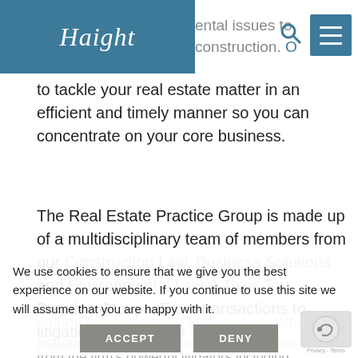Haight [logo header with navigation]
in everything from property acquisition rental issues to construction. Our goal to tackle your real estate matter in an efficient and timely manner so you can concentrate on your core business.
The Real Estate Practice Group is made up of a multidisciplinary team of members from our Construction Law, Business Solutions and Environmental Law & Toxic Tort Practice Groups. From transactions to litigation, Haight gets it done for developers and investors. When litigation experience is necessary, it draws upon seasoned litigators from the firm's powerful litigators including members of the Southern California Region of the American College of Trial Lawyers (ACTL), the American Board of Trial Advocates (ABOTA)
We use cookies to ensure that we give you the best experience on our website. If you continue to use this site we will assume that you are happy with it.